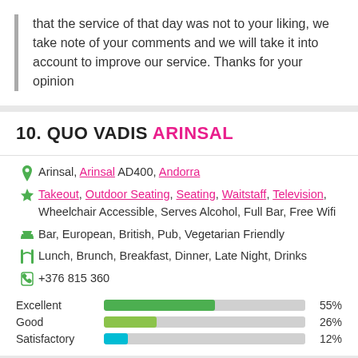that the service of that day was not to your liking, we take note of your comments and we will take it into account to improve our service. Thanks for your opinion
10. QUO VADIS ARINSAL
Arinsal, Arinsal AD400, Andorra
Takeout, Outdoor Seating, Seating, Waitstaff, Television, Wheelchair Accessible, Serves Alcohol, Full Bar, Free Wifi
Bar, European, British, Pub, Vegetarian Friendly
Lunch, Brunch, Breakfast, Dinner, Late Night, Drinks
+376 815 360
| Rating | Bar | Percent |
| --- | --- | --- |
| Excellent |  | 55% |
| Good |  | 26% |
| Satisfactory |  | 12% |